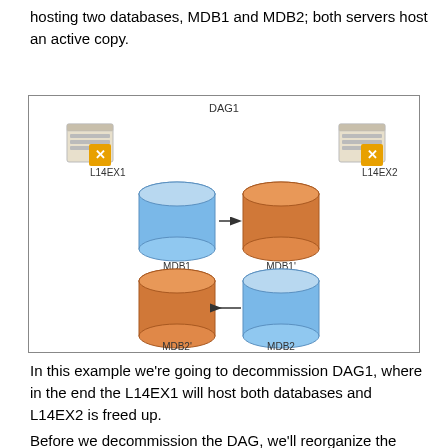hosting two databases, MDB1 and MDB2; both servers host an active copy.
[Figure (network-graph): DAG1 network diagram showing two Exchange servers L14EX1 and L14EX2 with four database copies: MDB1 (blue, active on L14EX1), MDB1' (orange, passive on L14EX2), MDB2' (orange, passive on L14EX1), MDB2 (blue, active on L14EX2). Arrows show replication direction between copies.]
In this example we're going to decommission DAG1, where in the end the L14EX1 will host both databases and L14EX2 is freed up.
Before we decommission the DAG, we'll reorganize the